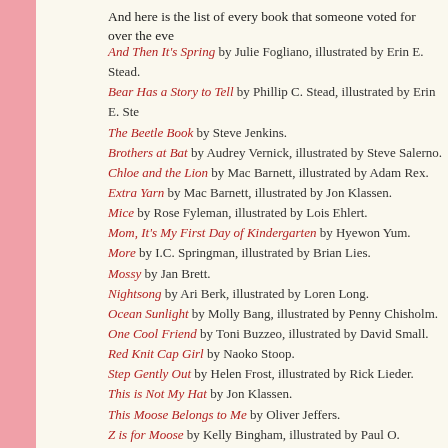And here is the list of every book that someone voted for over the eve
And Then It's Spring by Julie Fogliano, illustrated by Erin E. Stead.
Bear Has a Story to Tell by Phillip C. Stead, illustrated by Erin E. Ste
The Beetle Book by Steve Jenkins.
Brothers at Bat by Audrey Vernick, illustrated by Steve Salerno.
Chloe and the Lion by Mac Barnett, illustrated by Adam Rex.
Extra Yarn by Mac Barnett, illustrated by Jon Klassen.
Mice by Rose Fyleman, illustrated by Lois Ehlert.
Mom, It's My First Day of Kindergarten by Hyewon Yum.
More by I.C. Springman, illustrated by Brian Lies.
Mossy by Jan Brett.
Nightsong by Ari Berk, illustrated by Loren Long.
Ocean Sunlight by Molly Bang, illustrated by Penny Chisholm.
One Cool Friend by Toni Buzzeo, illustrated by David Small.
Red Knit Cap Girl by Naoko Stoop.
Step Gently Out by Helen Frost, illustrated by Rick Lieder.
This is Not My Hat by Jon Klassen.
This Moose Belongs to Me by Oliver Jeffers.
Z is for Moose by Kelly Bingham, illustrated by Paul O. Zelinsky.